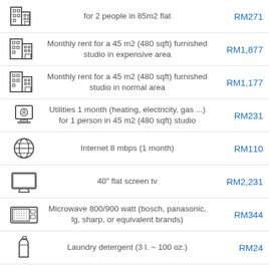for 2 people in 85m2 flat — RM271
Monthly rent for a 45 m2 (480 sqft) furnished studio in expensive area — RM1,877
Monthly rent for a 45 m2 (480 sqft) furnished studio in normal area — RM1,177
Utilities 1 month (heating, electricity, gas ...) for 1 person in 45 m2 (480 sqft) studio — RM231
Internet 8 mbps (1 month) — RM110
40" flat screen tv — RM2,231
Microwave 800/900 watt (bosch, panasonic, lg, sharp, or equivalent brands) — RM344
Laundry detergent (3 l. ~ 100 oz.) — RM24
Hourly rate for cleaning help — RM21